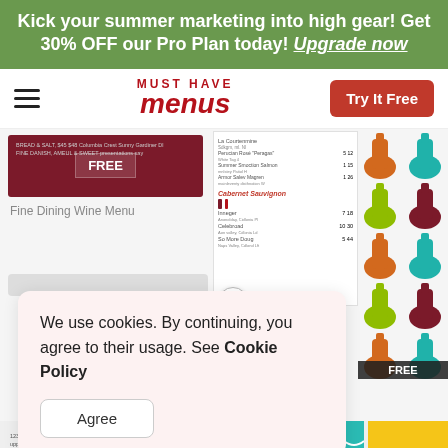Kick your summer marketing into high gear! Get 30% OFF our Pro Plan today! Upgrade now
[Figure (screenshot): Must Have Menus website navigation bar with hamburger menu icon, logo, and Try It Free button]
[Figure (screenshot): Website content area showing Fine Dining Wine Menu preview cards, wine list, colorful wine bottle graphics, cookie consent popup, and bottom menu previews]
We use cookies. By continuing, you agree to their usage. See Cookie Policy
Agree